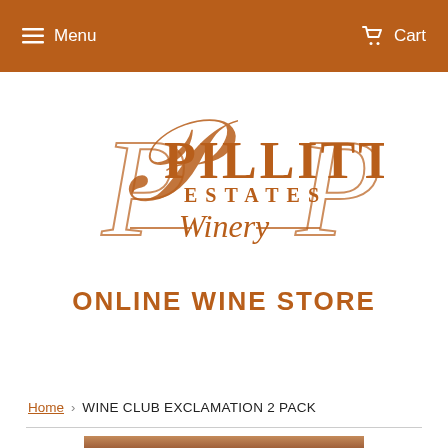Menu | Cart
[Figure (logo): Pillitteri Estates Winery logo in brown/orange serif font with decorative script 'Winery' below]
ONLINE WINE STORE
Home › WINE CLUB EXCLAMATION 2 PACK
[Figure (photo): Partial product image showing neck of wine bottle against a terracotta/brown background]